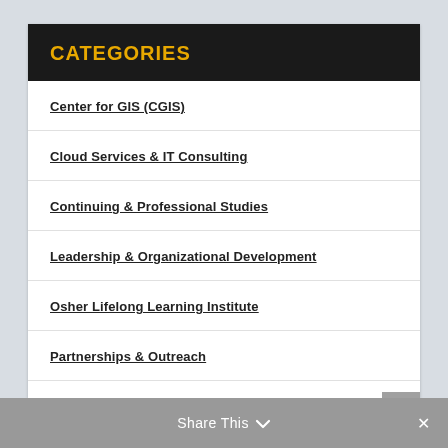CATEGORIES
Center for GIS (CGIS)
Cloud Services & IT Consulting
Continuing & Professional Studies
Leadership & Organizational Development
Osher Lifelong Learning Institute
Partnerships & Outreach
Regional Economic Studies Institute (RESI)
Venture Creation
Share This ∨  ✕